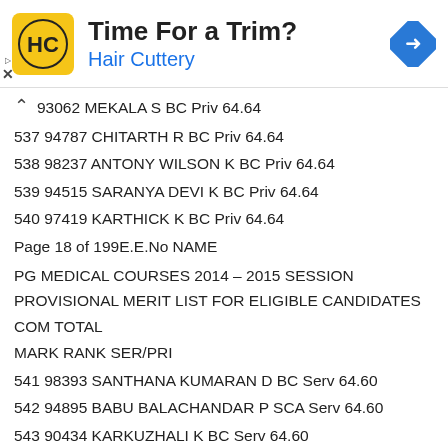[Figure (other): Advertisement banner for Hair Cuttery showing logo, 'Time For a Trim?' title, and navigation icon]
93062 MEKALA S BC Priv 64.64
537 94787 CHITARTH R BC Priv 64.64
538 98237 ANTONY WILSON K BC Priv 64.64
539 94515 SARANYA DEVI K BC Priv 64.64
540 97419 KARTHICK K BC Priv 64.64
Page 18 of 199E.E.No NAME
PG MEDICAL COURSES 2014 – 2015 SESSION
PROVISIONAL MERIT LIST FOR ELIGIBLE CANDIDATES
COM TOTAL
MARK RANK SER/PRI
541 98393 SANTHANA KUMARAN D BC Serv 64.60
542 94895 BABU BALACHANDAR P SCA Serv 64.60
543 90434 KARKUZHALI K BC Serv 64.60
544 97128 MURALIDHARANM BC Serv 64.60